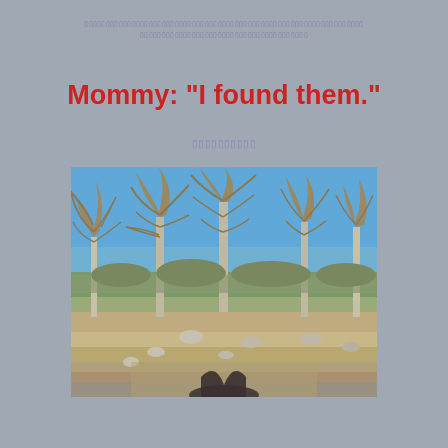▯▯▯▯▯▯▯▯▯▯▯▯▯▯▯▯▯▯▯▯▯▯▯▯▯▯▯▯▯▯▯▯▯▯▯▯▯▯▯▯▯▯▯▯▯▯▯▯▯▯▯▯▯▯▯▯▯▯▯▯▯▯▯▯▯▯▯▯▯▯▯▯▯▯▯▯▯▯▯▯▯▯▯▯▯▯▯▯▯▯▯▯▯▯▯▯
Mommy: "I found them."
▯▯▯▯▯▯▯▯▯▯
[Figure (photo): Outdoor photograph showing bare winter trees with twisted branches against a clear blue sky. The ground shows a dirt road with scattered rocks and some green grass. A dark shadow of a person is visible at the bottom center of the image.]